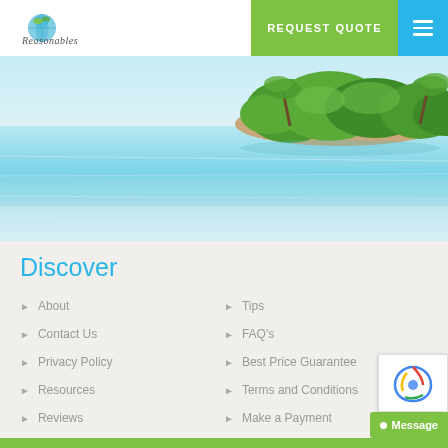[Figure (logo): Reasonables travel company logo - heart-shaped globe with script text]
REQUEST QUOTE
[Figure (photo): Tropical island with palm trees and lush green vegetation surrounded by clear turquoise water, viewed from a distance]
Discover
About
Tips
Contact Us
FAQ's
Privacy Policy
Best Price Guarantee
Resources
Terms and Conditions
Reviews
Make a Payment